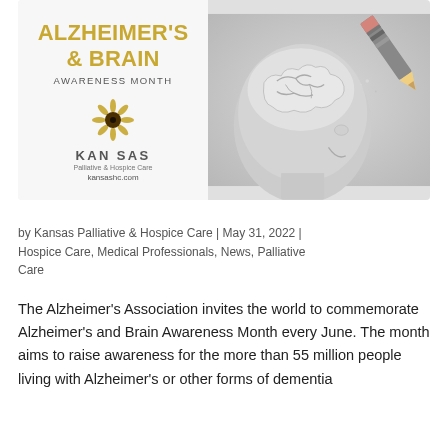[Figure (illustration): Alzheimer's and Brain Awareness Month banner with yellow text on left reading 'ALZHEIMER'S & BRAIN AWARENESS MONTH', Kansas Palliative & Hospice Care sunflower logo and kansashc.com URL, and on the right side an illustration of a human head profile with a brain and a pencil erasing it.]
by Kansas Palliative & Hospice Care | May 31, 2022 | Hospice Care, Medical Professionals, News, Palliative Care
The Alzheimer's Association invites the world to commemorate Alzheimer's and Brain Awareness Month every June. The month aims to raise awareness for the more than 55 million people living with Alzheimer's or other forms of dementia